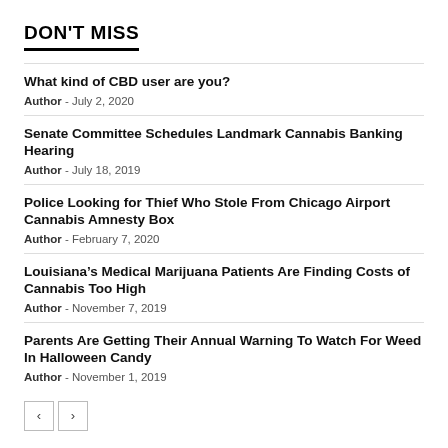DON'T MISS
What kind of CBD user are you?
Author - July 2, 2020
Senate Committee Schedules Landmark Cannabis Banking Hearing
Author - July 18, 2019
Police Looking for Thief Who Stole From Chicago Airport Cannabis Amnesty Box
Author - February 7, 2020
Louisiana’s Medical Marijuana Patients Are Finding Costs of Cannabis Too High
Author - November 7, 2019
Parents Are Getting Their Annual Warning To Watch For Weed In Halloween Candy
Author - November 1, 2019